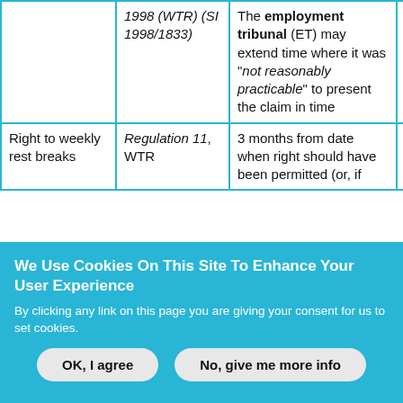|  | 1998 (WTR) (SI 1998/1833) | The employment tribunal (ET) may extend time where it was "not reasonably practicable" to present the claim in time |  |
| Right to weekly rest breaks | Regulation 11, WTR | 3 months from date when right should have been permitted (or, if... | None |
We Use Cookies On This Site To Enhance Your User Experience
By clicking any link on this page you are giving your consent for us to set cookies.